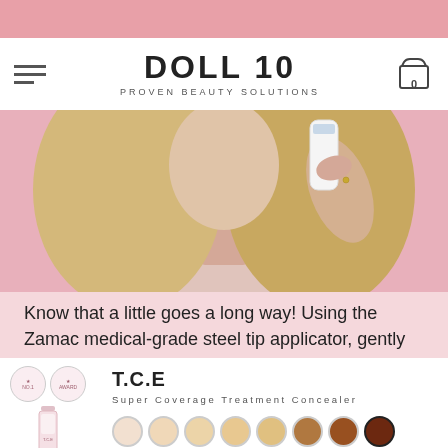DOLL 10 PROVEN BEAUTY SOLUTIONS
[Figure (photo): Blonde woman holding a white beauty device against a pink background]
Know that a little goes a long way! Using the Zamac medical-grade steel tip applicator, gently
T.C.E
Super Coverage Treatment Concealer
[Figure (other): Product image: T.C.E concealer tube with two award badge circles and 10 color swatches in shades from light to dark brown]
$29.50
ADD TO CART